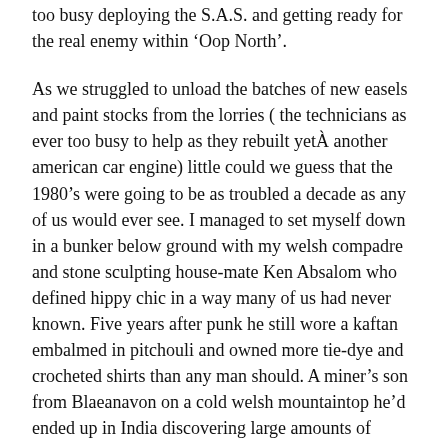too busy deploying the S.A.S. and getting ready for the real enemy within ‘Oop North’.
As we struggled to unload the batches of new easels and paint stocks from the lorries ( the technicians as ever too busy to help as they rebuilt yetÂ another american car engine) little could we guess that the 1980’s were going to be as troubled a decade as any of us would ever see. I managed to set myself down in a bunker below ground with my welsh compadre and stone sculpting house-mate Ken Absalom who defined hippy chic in a way many of us had never known. Five years after punk he still wore a kaftan embalmed in pitchouli and owned more tie-dye and crocheted shirts than any man should. A miner’s son from Blaeanavon on a cold welsh mountaintop he’d ended up in India discovering large amounts of hashish and women in about equal measure. A return to his village was precluded by a fierce